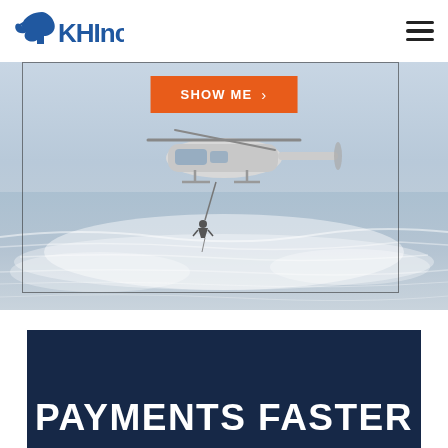[Figure (logo): KH Inc logo with eagle icon in blue]
[Figure (photo): Military helicopter hovering over ocean water with a person rappelling down on a rope, framed by a rectangular border overlay with an orange 'SHOW ME >' button at the top center]
PAYMENTS FASTER